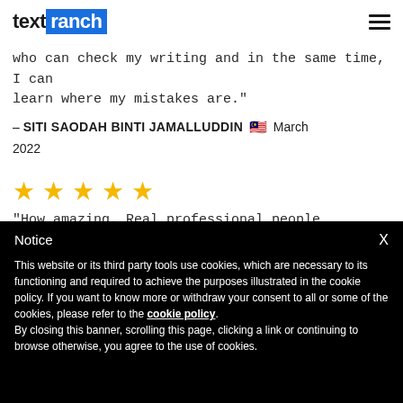textranch
who can check my writing and in the same time, I can learn where my mistakes are."
– SITI SAODAH BINTI JAMALLUDDIN 🇲🇾 March 2022
[Figure (other): Five gold stars rating]
"How amazing. Real,professional people proofreading your texts, not bots."
Notice
This website or its third party tools use cookies, which are necessary to its functioning and required to achieve the purposes illustrated in the cookie policy. If you want to know more or withdraw your consent to all or some of the cookies, please refer to the cookie policy.
By closing this banner, scrolling this page, clicking a link or continuing to browse otherwise, you agree to the use of cookies.